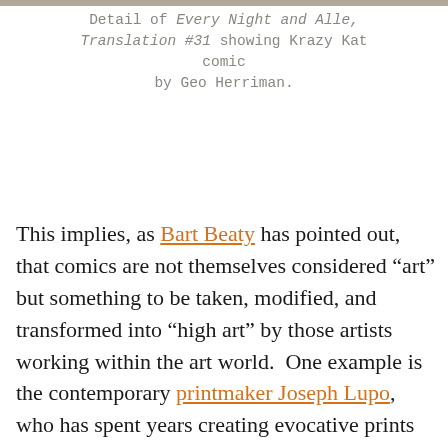Detail of Every Night and Alle, Translation #31 showing Krazy Kat comic by Geo Herriman.
This implies, as Bart Beaty has pointed out, that comics are not themselves considered “art” but something to be taken, modified, and transformed into “high art” by those artists working within the art world.  One example is the contemporary printmaker Joseph Lupo, who has spent years creating evocative prints deconstructing panels and pages from one comic, 1982’s Invincible Iron Man issue 178 (by Bob Harris, Luke McDonnell, Steve Mitchell, Rick Parker, Bob Sharen, Denny O’Neil, and Mike Carlin). He accomplishes this by removing key figures to play